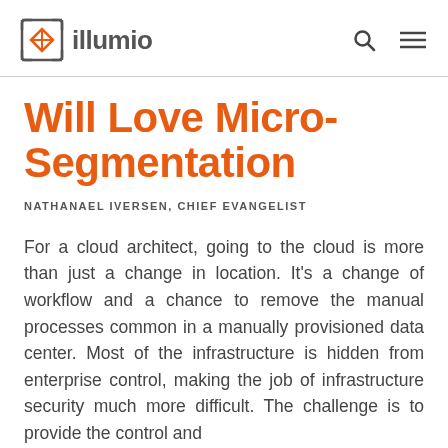illumio
Will Love Micro-Segmentation
NATHANAEL IVERSEN, CHIEF EVANGELIST
For a cloud architect, going to the cloud is more than just a change in location. It's a change of workflow and a chance to remove the manual processes common in a manually provisioned data center. Most of the infrastructure is hidden from enterprise control, making the job of infrastructure security much more difficult. The challenge is to provide the control and